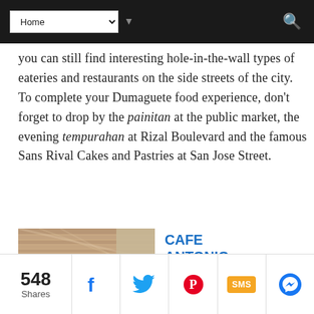Home (navigation dropdown)
you can still find interesting hole-in-the-wall types of eateries and restaurants on the side streets of the city. To complete your Dumaguete food experience, don't forget to drop by the painitan at the public market, the evening tempurahan at Rizal Boulevard and the famous Sans Rival Cakes and Pastries at San Jose Street.
[Figure (photo): Exterior photo of Cafe Antonio showing wooden facade and covered outdoor seating area with corrugated roof.]
CAFE ANTONIO
Type:
548 Shares | Facebook | Twitter | Pinterest | SMS | Messenger